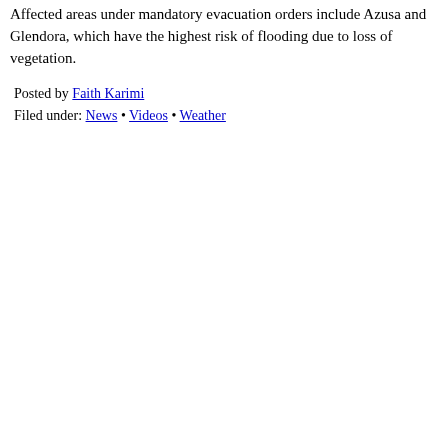Affected areas under mandatory evacuation orders include Azusa and Glendora, which have the highest risk of flooding due to loss of vegetation.
Posted by Faith Karimi
Filed under: News • Videos • Weather